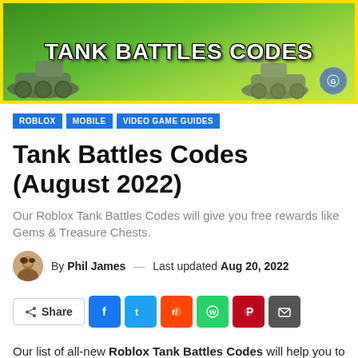[Figure (illustration): Green banner image with tank imagery and bold white text reading TANK BATTLES CODES, yellow border, small circular icon bottom right]
ROBLOX | MOBILE | VIDEO GAME GUIDES
Tank Battles Codes (August 2022)
Our Roblox Tank Battles Codes will give you free rewards like Gems & Treasure Chests.
By Phil James — Last updated Aug 20, 2022
[Figure (infographic): Share button row with Facebook, Twitter, Reddit, WhatsApp, Pinterest, and email icon buttons]
Our list of all-new Roblox Tank Battles Codes will help you to get free in-game rewards. New codes